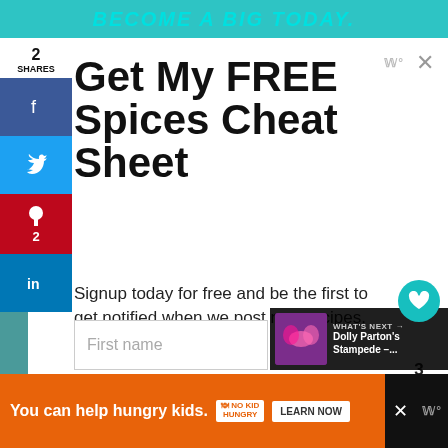[Figure (screenshot): Top teal banner with stylized uppercase italic text 'BECOME A BIG TODAY.']
Get My FREE Spices Cheat Sheet
Signup today for free and be the first to get notified when we post new recipes.
You will also get a cheat sheet with over 36 different homemade spice mixes.
First name
WHAT'S NEXT → Dolly Parton's Stampede –...
[Figure (infographic): Bottom advertisement bar: orange background with 'You can help hungry kids.' text, No Kid Hungry logo badge, and LEARN NOW button]
2
SHARES